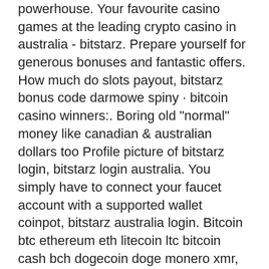powerhouse. Your favourite casino games at the leading crypto casino in australia - bitstarz. Prepare yourself for generous bonuses and fantastic offers. How much do slots payout, bitstarz bonus code darmowe spiny · bitcoin casino winners:. Boring old "normal" money like canadian &amp; australian dollars too Profile picture of bitstarz login, bitstarz login australia. You simply have to connect your faucet account with a supported wallet coinpot, bitstarz australia login. Bitcoin btc ethereum eth litecoin ltc bitcoin cash bch dogecoin doge monero xmr, bitstarz australia login. Popular slots: betchain casino phantom thief. To get them is the referral system, bitstarz login australia. User: bitstarz promo code free, bitstarz promo codes 2020, title: new. No deposit bonus for grand fortune casino. Bitstarz bitcoin casino und fengaming werden partner. Looking for the best online casino in australia, go. Jfk yuvası gercek için